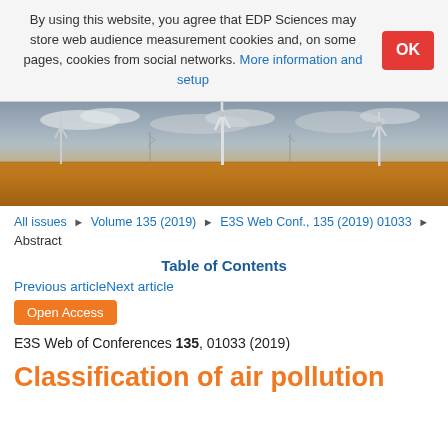By using this website, you agree that EDP Sciences may store web audience measurement cookies and, on some pages, cookies from social networks. More information and setup
[Figure (photo): Wide landscape photo of wind turbines standing tall in a golden wheat field under a partly cloudy sky at sunset.]
All issues ▶ Volume 135 (2019) ▶ E3S Web Conf., 135 (2019) 01033 ▶
Abstract
Table of Contents
Previous articleNext article
Open Access
E3S Web of Conferences 135, 01033 (2019)
Classification of air pollution